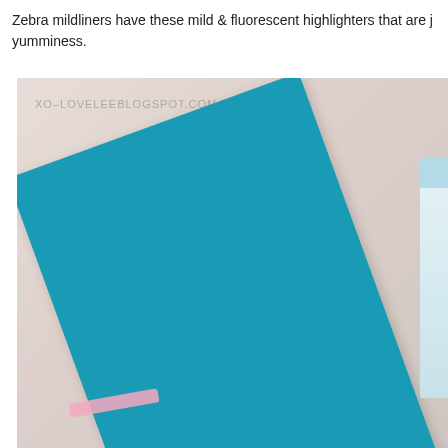Zebra mildliners have these mild & fluorescent highlighters that are j... yumminess.
[Figure (photo): A teal/turquoise notebook or folder photographed at an angle on a light pinkish-beige background, with white highlighter pens visible on the right edge and a pink ribbon or marker at the bottom left. The watermark 'XO-LOVELEEBLOGSPOT.COM' appears in the upper left corner of the photo.]